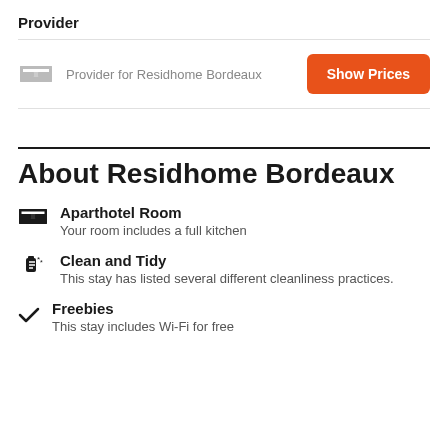Provider
Provider for Residhome Bordeaux
Show Prices
About Residhome Bordeaux
Aparthotel Room
Your room includes a full kitchen
Clean and Tidy
This stay has listed several different cleanliness practices.
Freebies
This stay includes Wi-Fi for free